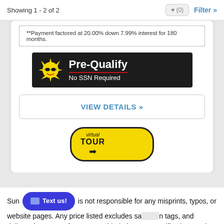Showing 1 - 2 of 2
**Payment factored at 20.00% down 7.99% interest for 180 months.
[Figure (infographic): Pre-Qualify No SSN Required banner with sun mascot on dark background]
VIEW DETAILS »
[Figure (infographic): Virtual Tour badge with yellow oval and arrow]
Sun... is not responsible for any misprints, typos, or website pages. Any price listed excludes sa... n tags, and delivery fees. Manufacturer-provided pictures, specifications and features may be used as